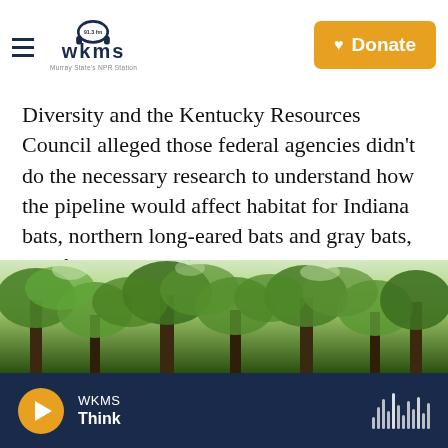WKMS 91.3 fm — Murray State's NPR Station | Donate
Diversity and the Kentucky Resources Council alleged those federal agencies didn't do the necessary research to understand how the pipeline would affect habitat for Indiana bats, northern long-eared bats and gray bats, all of which are listed as threatened or endangered.
“This issue is that no one ever did a scientifically legitimate search for caves,” said Perrin de Jong, Center for Biological Diversity staff attorney.
[Figure (photo): Forest canopy viewed from below, showing green tree leaves and branches]
WKMS | Think